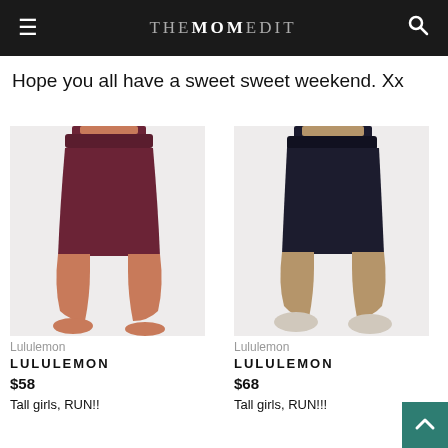THE MOM EDIT
Hope you all have a sweet sweet weekend. Xx
[Figure (photo): Woman wearing dark burgundy/maroon Lululemon biker shorts, cropped view from waist to feet, barefoot on white background]
Lululemon
LULULEMON
$58
Tall girls, RUN!!
[Figure (photo): Woman wearing black Lululemon biker shorts, cropped view from waist to feet, wearing white sneakers on white background]
Lululemon
LULULEMON
$68
Tall girls, RUN!!!